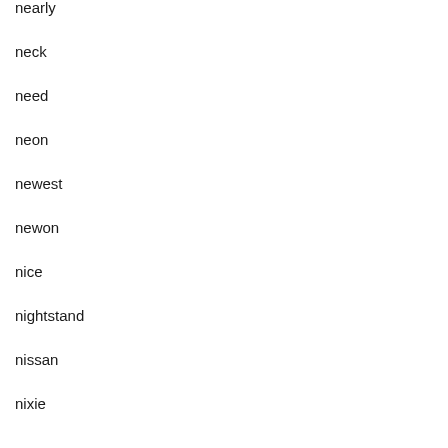nearly
neck
need
neon
newest
newon
nice
nightstand
nissan
nixie